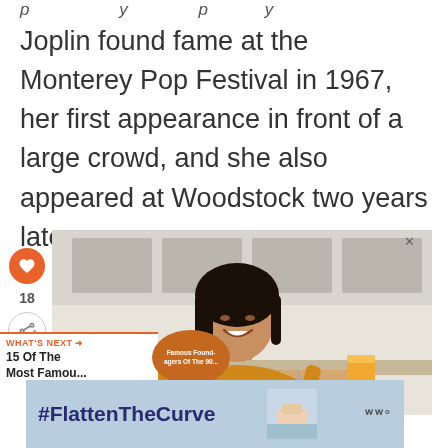p                           y              p          y
Joplin found fame at the Monterey Pop Festival in 1967, her first appearance in front of a large crowd, and she also appeared at Woodstock two years later.
[Figure (photo): A smiling young woman with long dark hair wearing a mustard yellow top, sitting at a kitchen table eating a meal with a glass of orange juice nearby. Kitchen cabinets visible in background.]
[Figure (infographic): WHAT'S NEXT promo box with orange circle thumbnail showing '15 Of The Most Famou...' text and an orange circular image.]
[Figure (infographic): Advertisement banner with light blue background showing '#FlattenTheCurve' text in dark blue bold font, a hand-washing image, and a logo mark.]